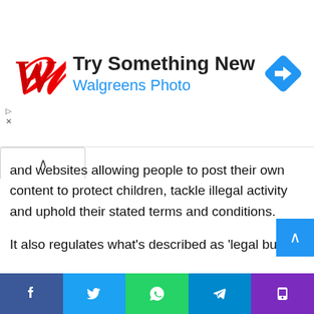[Figure (screenshot): Walgreens Photo advertisement banner with red W logo, 'Try Something New' headline, 'Walgreens Photo' subheading in blue, and a blue diamond navigation icon on the right.]
and websites allowing people to post their own content to protect children, tackle illegal activity and uphold their stated terms and conditions.
It also regulates what's described as 'legal but harmful content.' However, what constitutes 'legal but harmful' online activity has not yet been defined and it will be updated with secondary legislation.
That's why I believe the government needs to listen to nuanced stories like mine when creating this legislation. In my own case, I think the person who instigated the sexual